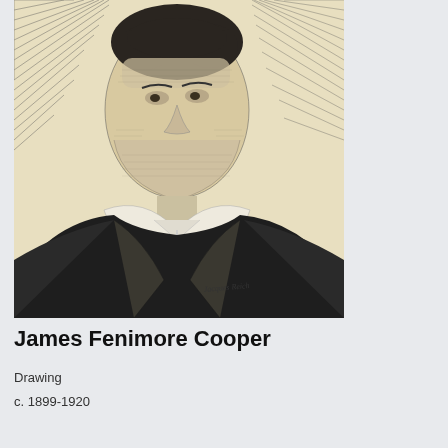[Figure (illustration): A detailed pencil or engraving-style portrait drawing of James Fenimore Cooper, showing a middle-aged man with curly hair, wearing a cravat and coat, looking slightly to the left. The drawing is signed 'Jacques Reich' in the lower right. The background of the drawing is a warm cream/beige tone.]
James Fenimore Cooper
Drawing
c. 1899-1920